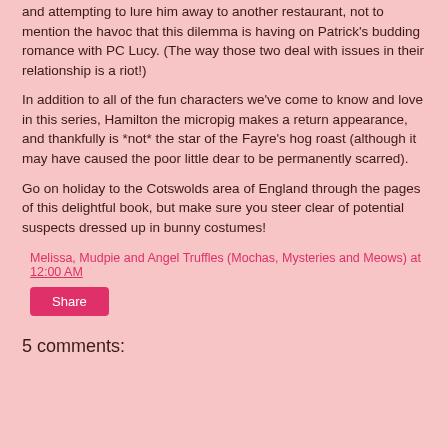and attempting to lure him away to another restaurant, not to mention the havoc that this dilemma is having on Patrick's budding romance with PC Lucy. (The way those two deal with issues in their relationship is a riot!)
In addition to all of the fun characters we've come to know and love in this series, Hamilton the micropig makes a return appearance, and thankfully is *not* the star of the Fayre's hog roast (although it may have caused the poor little dear to be permanently scarred).
Go on holiday to the Cotswolds area of England through the pages of this delightful book, but make sure you steer clear of potential suspects dressed up in bunny costumes!
Melissa, Mudpie and Angel Truffles (Mochas, Mysteries and Meows) at 12:00 AM
Share
5 comments: